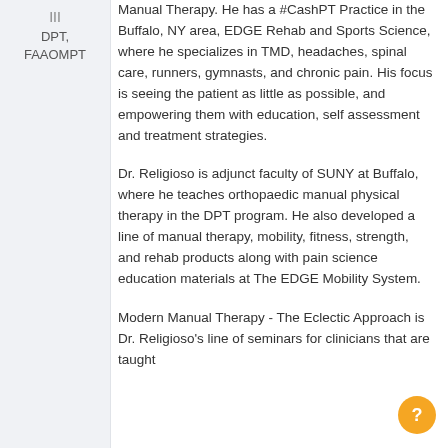DPT, FAAOMPT
Manual Therapy. He has a #CashPT Practice in the Buffalo, NY area, EDGE Rehab and Sports Science, where he specializes in TMD, headaches, spinal care, runners, gymnasts, and chronic pain. His focus is seeing the patient as little as possible, and empowering them with education, self assessment and treatment strategies.
Dr. Religioso is adjunct faculty of SUNY at Buffalo, where he teaches orthopaedic manual physical therapy in the DPT program. He also developed a line of manual therapy, mobility, fitness, strength, and rehab products along with pain science education materials at The EDGE Mobility System.
Modern Manual Therapy - The Eclectic Approach is Dr. Religioso's line of seminars for clinicians that are taught